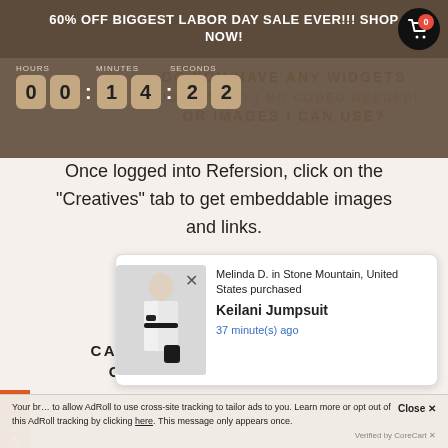60% OFF BIGGEST LABOR DAY SALE EVER!!! SHOP NOW!
[Figure (screenshot): Countdown timer showing 00:14:22 with labels Hours, Minutes, Seconds on a dark brown background]
DO YOU HAVE ANY WIDGETS TODAY ONLY! | NO Coded Needed! OR IMAGES I CAN USE?
Once logged into Refersion, click on the "Creatives" tab to get embeddable images and links.
CAN I USE MY OWN LINK TO GET A 20%, 15% OR 10%
[Figure (screenshot): Social proof popup: Melinda D. in Stone Mountain, United States purchased Keilani Jumpsuit 37 minute(s) ago. Shows a white jumpsuit photo.]
Your browser does not allow AdRoll to use cross-site tracking to tailor ads to you. Learn more or opt out of this AdRoll tracking by clicking here. This message only appears once.